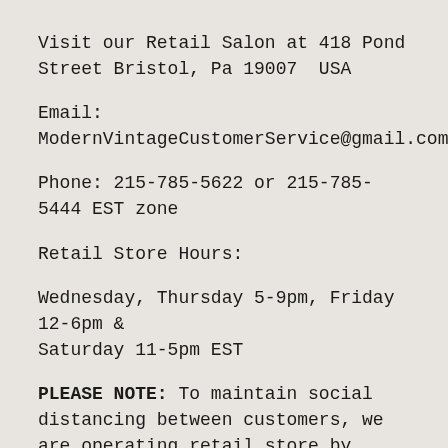Visit our Retail Salon at 418 Pond Street Bristol, Pa 19007  USA
Email: ModernVintageCustomerService@gmail.com
Phone: 215-785-5622 or 215-785-5444 EST zone
Retail Store Hours:
Wednesday, Thursday 5-9pm, Friday 12-6pm & Saturday 11-5pm EST
PLEASE NOTE: To maintain social distancing between customers, we are operating retail store by appointment only. Please email, message us or call 215-785-5444 and follow the voice directions to make an appointment. Please email us regarding any questions. Shipping delays out of our control may occur due to understaffing at designers, manufacturers or shippers due to COVID.